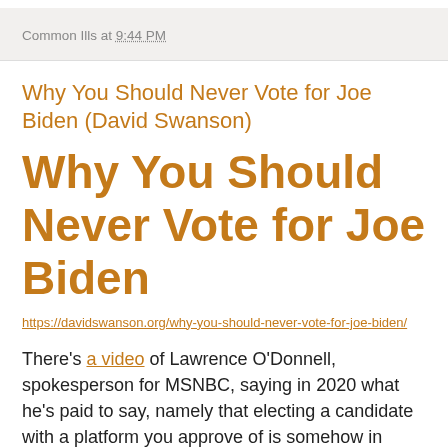Common Ills at 9:44 PM
Why You Should Never Vote for Joe Biden (David Swanson)
Why You Should Never Vote for Joe Biden
https://davidswanson.org/why-you-should-never-vote-for-joe-biden/
There's a video of Lawrence O'Donnell, spokesperson for MSNBC, saying in 2020 what he's paid to say, namely that electing a candidate with a platform you approve of is somehow in conflict with electing a candidate who can win. The logic of this is that most people are expected to vote for